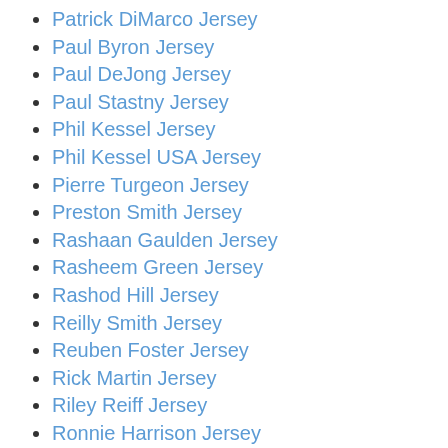Patrick DiMarco Jersey
Paul Byron Jersey
Paul DeJong Jersey
Paul Stastny Jersey
Phil Kessel Jersey
Phil Kessel USA Jersey
Pierre Turgeon Jersey
Preston Smith Jersey
Rashaan Gaulden Jersey
Rasheem Green Jersey
Rashod Hill Jersey
Reilly Smith Jersey
Reuben Foster Jersey
Rick Martin Jersey
Riley Reiff Jersey
Ronnie Harrison Jersey
Ronnie Stanley Jersey
Sam Mills Jersey
Sammie Coates Jersey
Sammy Baugh Jersey